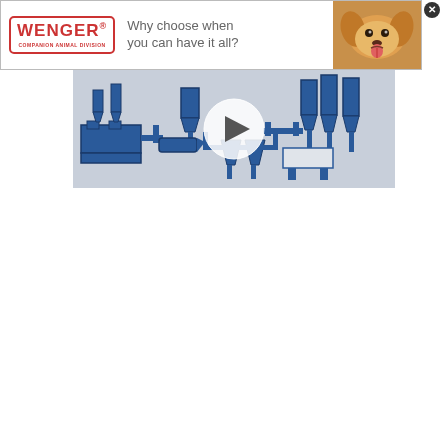[Figure (logo): Wenger Companion Animal Division logo — red rectangular border with WENGER in red bold text and registered trademark, COMPANION ANIMAL DIVISION subtitle]
Why choose when you can have it all?
[Figure (photo): Chihuahua dog photo in upper right corner of banner advertisement]
[Figure (screenshot): Video thumbnail showing a blue industrial manufacturing/processing equipment schematic diagram with a circular white play button overlay in the center]